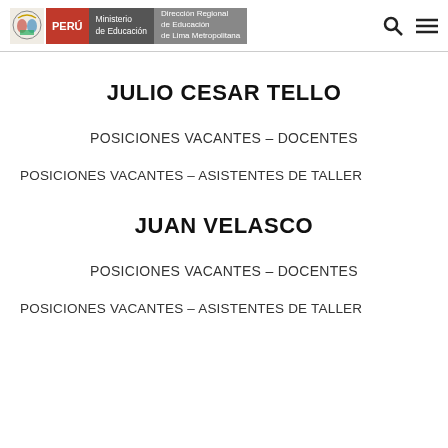PERÚ Ministerio de Educación | Dirección Regional de Educación de Lima Metropolitana
JULIO CESAR TELLO
POSICIONES VACANTES – DOCENTES
POSICIONES VACANTES – ASISTENTES DE TALLER
JUAN VELASCO
POSICIONES VACANTES – DOCENTES
POSICIONES VACANTES – ASISTENTES DE TALLER